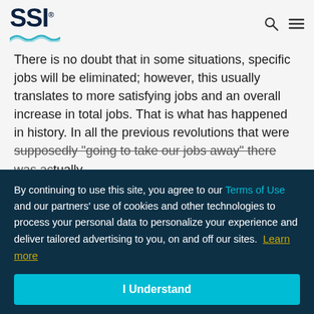SSI logo and navigation icons
There is no doubt that in some situations, specific jobs will be eliminated; however, this usually translates to more satisfying jobs and an overall increase in total jobs. That is what has happened in history. In all the previous revolutions that were supposedly "going to take our jobs away" there was actually an ... from the first ... will be more ... of the future is ...
By continuing to use this site, you agree to our Terms of Use and our partners' use of cookies and other technologies to process your personal data to personalize your experience and deliver tailored advertising to you, on and off our sites. Learn more
I Understand
[Figure (screenshot): Dark background image with digital/IoT theme, showing circuit-like patterns and the text 'DIGITAL' at the bottom right]